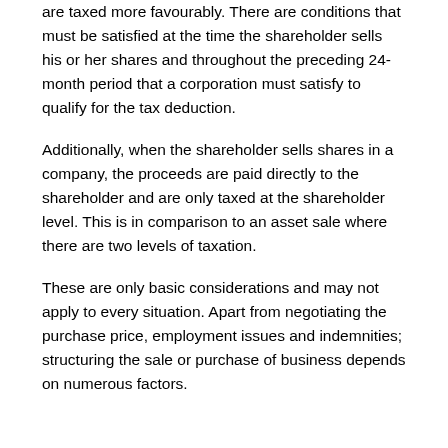are taxed more favourably. There are conditions that must be satisfied at the time the shareholder sells his or her shares and throughout the preceding 24-month period that a corporation must satisfy to qualify for the tax deduction.
Additionally, when the shareholder sells shares in a company, the proceeds are paid directly to the shareholder and are only taxed at the shareholder level. This is in comparison to an asset sale where there are two levels of taxation.
These are only basic considerations and may not apply to every situation. Apart from negotiating the purchase price, employment issues and indemnities; structuring the sale or purchase of business depends on numerous factors.